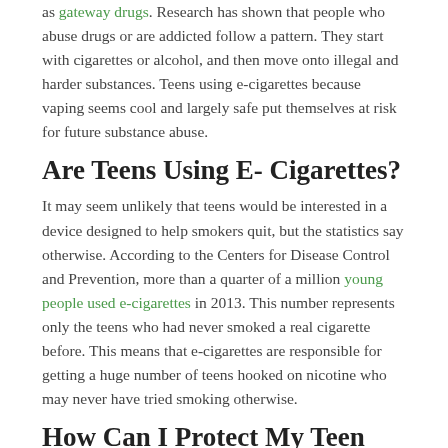as gateway drugs. Research has shown that people who abuse drugs or are addicted follow a pattern. They start with cigarettes or alcohol, and then move onto illegal and harder substances. Teens using e-cigarettes because vaping seems cool and largely safe put themselves at risk for future substance abuse.
Are Teens Using E- Cigarettes?
It may seem unlikely that teens would be interested in a device designed to help smokers quit, but the statistics say otherwise. According to the Centers for Disease Control and Prevention, more than a quarter of a million young people used e-cigarettes in 2013. This number represents only the teens who had never smoked a real cigarette before. This means that e-cigarettes are responsible for getting a huge number of teens hooked on nicotine who may never have tried smoking otherwise.
How Can I Protect My Teen From E-Cigarettes?